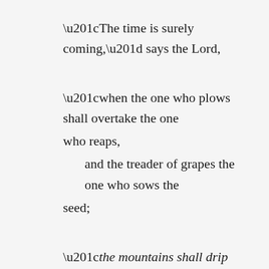“The time is surely coming,” says the Lord,
“when the one who plows shall overtake the one who reaps,
    and the treader of grapes the one who sows the seed;
“the mountains shall drip sweet wine,
    and all the hills shall flow with it.
“I will restore the fortunes of my people Israel,
    and they shall rebuild the ruined cities and